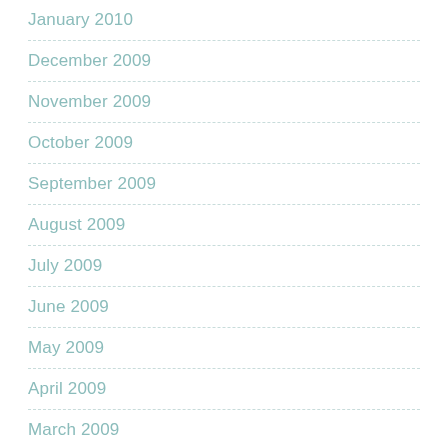January 2010
December 2009
November 2009
October 2009
September 2009
August 2009
July 2009
June 2009
May 2009
April 2009
March 2009